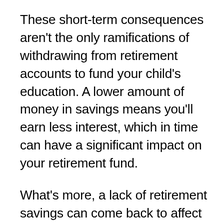These short-term consequences aren't the only ramifications of withdrawing from retirement accounts to fund your child's education. A lower amount of money in savings means you'll earn less interest, which in time can have a significant impact on your retirement fund.
What's more, a lack of retirement savings can come back to affect your children. If you reach retirement without the resources to care for yourself, that burden may be passed back onto your children. While a young, able-bodied adult may not want to think about